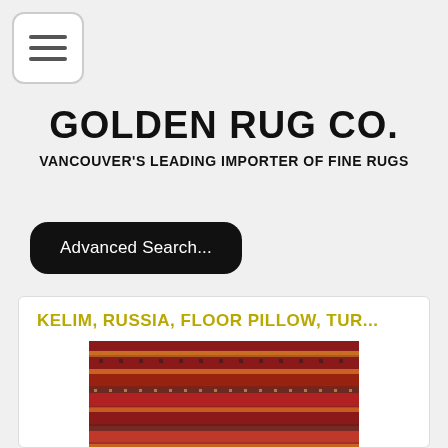[Figure (other): Hamburger menu button icon with three horizontal lines]
GOLDEN RUG CO.
VANCOUVER'S LEADING IMPORTER OF FINE RUGS
Advanced Search...
KELIM, RUSSIA, FLOOR PILLOW, TUR...
[Figure (photo): A red Kelim rug from Russia with horizontal decorative bands featuring geometric patterns in dark colors on a red background]